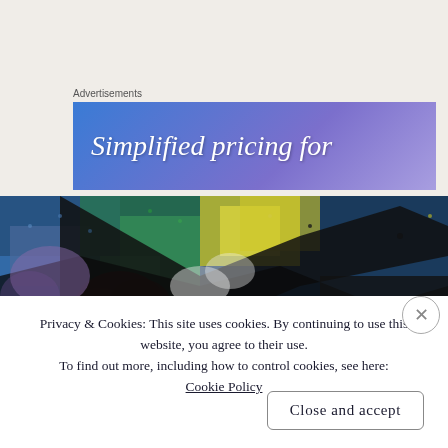Advertisements
[Figure (screenshot): Advertisement banner with blue-purple gradient background showing text 'Simplified pricing for']
[Figure (photo): Colorful abstract artwork or painting with blues, greens, reds, yellows and black, appearing textured and impressionistic]
Privacy & Cookies: This site uses cookies. By continuing to use this website, you agree to their use.
To find out more, including how to control cookies, see here: Cookie Policy
Close and accept